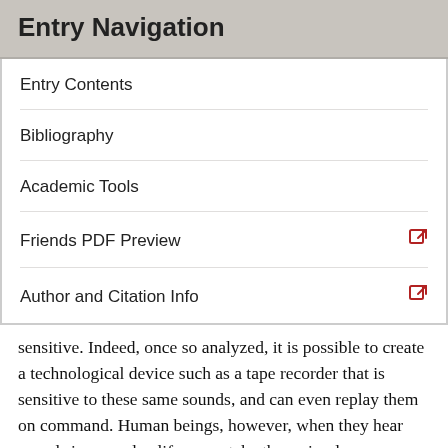Entry Navigation
Entry Contents
Bibliography
Academic Tools
Friends PDF Preview
Author and Citation Info
sensitive. Indeed, once so analyzed, it is possible to create a technological device such as a tape recorder that is sensitive to these same sounds, and can even replay them on command. Human beings, however, when they hear sounds in everyday life never take them simply as a stream of sounds, rather they find themselves already listening to something particular—a cry for help, an automobile breaking, construction noise, or a piece of music. Indeed it would take a very strange sort of attitude to hear sounds and take them as a flux of waves of particular frequencies. Listening is different than